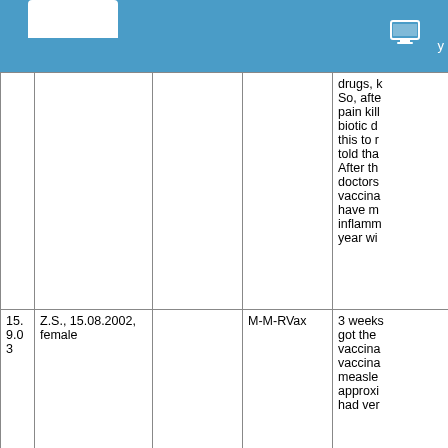y
|  |  |  |  |  |
| --- | --- | --- | --- | --- |
|  |  |  |  | drugs, k So, afte pain kill biotic d this to r told tha After th doctors vaccina have m inflamm year wi |
| 15.9.03 | Z.S., 15.08.2002, female |  | M-M-RVax | 3 weeks got the vaccina vaccina measle approxi had ver |